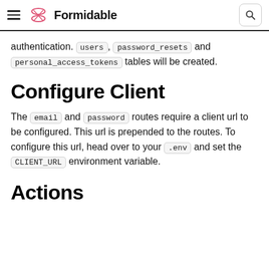Formidable
authentication. users, password_resets and personal_access_tokens tables will be created.
Configure Client
The email and password routes require a client url to be configured. This url is prepended to the routes. To configure this url, head over to your .env and set the CLIENT_URL environment variable.
Actions